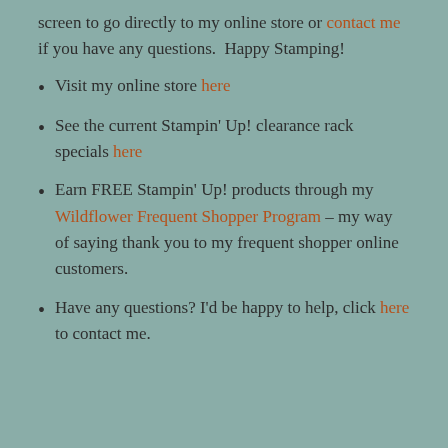screen to go directly to my online store or contact me if you have any questions.  Happy Stamping!
Visit my online store here
See the current Stampin' Up! clearance rack specials here
Earn FREE Stampin' Up! products through my Wildflower Frequent Shopper Program – my way of saying thank you to my frequent shopper online customers.
Have any questions? I'd be happy to help, click here to contact me.